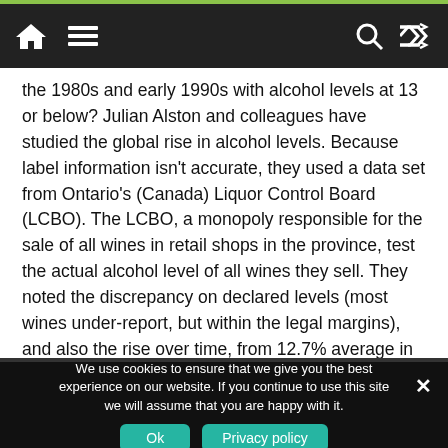Navigation bar with home, menu, search, and shuffle icons
the 1980s and early 1990s with alcohol levels at 13 or below? Julian Alston and colleagues have studied the global rise in alcohol levels. Because label information isn't accurate, they used a data set from Ontario's (Canada) Liquor Control Board (LCBO). The LCBO, a monopoly responsible for the sale of all wines in retail shops in the province, test the actual alcohol level of all wines they sell. They noted the discrepancy on declared levels (most wines under-report, but within the legal margins), and also the rise over time, from 12.7% average in 1992 to 13.8% in 2009.
We use cookies to ensure that we give you the best experience on our website. If you continue to use this site we will assume that you are happy with it.